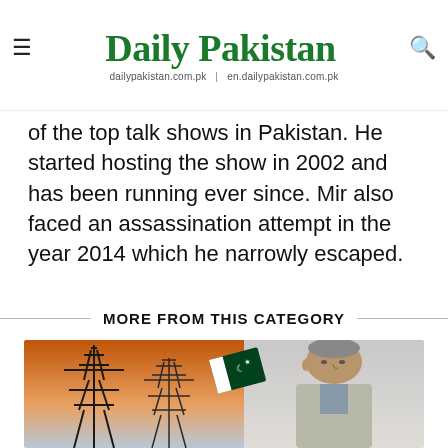Daily Pakistan
dailypakistan.com.pk | en.dailypakistan.com.pk
of the top talk shows in Pakistan. He started hosting the show in 2002 and has been running ever since. Mir also faced an assassination attempt in the year 2014 which he narrowly escaped.
MORE FROM THIS CATEGORY
[Figure (photo): News article image showing electricity pylons/transmission towers on the left side and a man (Shehbaz Sharif) on the right side with a Pakistani flag graphic in the center background.]